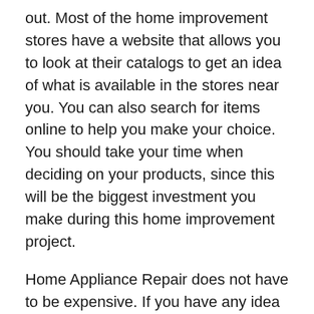out. Most of the home improvement stores have a website that allows you to look at their catalogs to get an idea of what is available in the stores near you. You can also search for items online to help you make your choice. You should take your time when deciding on your products, since this will be the biggest investment you make during this home improvement project.
Home Appliance Repair does not have to be expensive. If you have any idea on how to fix your appliances then try and find some of the cheaper, basic parts to fix up your home. If you have an older model home, then you can get some really cheap replacement parts. If your home appliance broke because of water leakage, then instead of replacing everything it might be a good idea to just buy some new ones. You will end up saving money